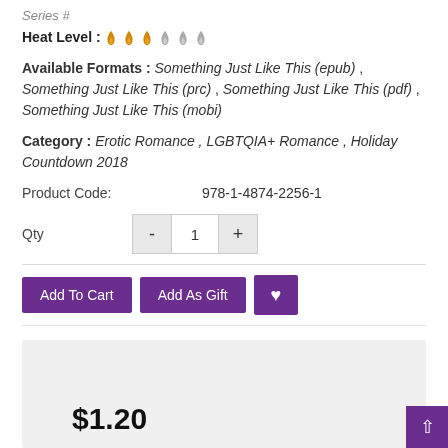Series #
Heat Level : 3 filled flames, 3 gray flames
Available Formats : Something Just Like This (epub) , Something Just Like This (prc) , Something Just Like This (pdf) , Something Just Like This (mobi)
Category : Erotic Romance , LGBTQIA+ Romance , Holiday Countdown 2018
Product Code: 978-1-4874-2256-1
Qty 1
Add To Cart | Add As Gift | ♥
$1.20